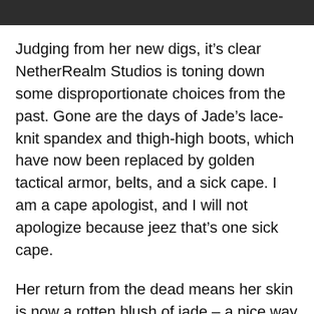Judging from her new digs, it’s clear NetherRealm Studios is toning down some disproportionate choices from the past. Gone are the days of Jade’s lace-knit spandex and thigh-high boots, which have now been replaced by golden tactical armor, belts, and a sick cape. I am a cape apologist, and I will not apologize because jeez that’s one sick cape.
Her return from the dead means her skin is now a rotten blush of jade – a nice way to unify the character’s style.
It’s a refreshing choice for the fighting series, which historically prioritized senseless violence and sex appeal. Seems that NetherRealm is ready to move on